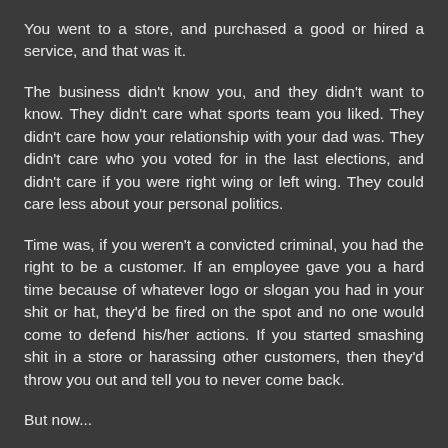You went to a store, and purchased a good or hired a service, and that was it.
The business didn't know you, and they didn't want to know. They didn't care what sports team you liked. They didn't care how your relationship with your dad was. They didn't care who you voted for in the last elections, and didn't care if you were right wing or left wing. They could care less about your personal politics.
Time was, if you weren't a convicted criminal, you had the right to be a customer. If an employee gave you a hard time because of whatever logo or slogan you had in your shit or hat, they'd be fired on the spot and no one would come to defend his/her actions. If you started smashing shit in a store or harassing other customers, then they'd throw you out and tell you to never come back.
But now...